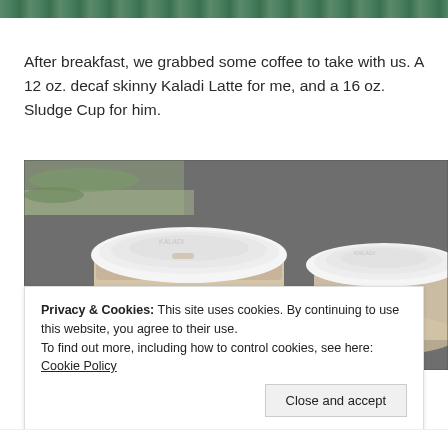[Figure (photo): Partial view of a photograph showing green foliage or water at top of page — cropped top portion of an outdoor scene.]
After breakfast, we grabbed some coffee to take with us. A 12 oz. decaf skinny Kaladi Latte for me, and a 16 oz. Sludge Cup for him.
[Figure (photo): Overhead photo of two white-lidded paper coffee cups held over a sidewalk/pavement background with green moss along the curb edge.]
Privacy & Cookies: This site uses cookies. By continuing to use this website, you agree to their use.
To find out more, including how to control cookies, see here: Cookie Policy
Close and accept